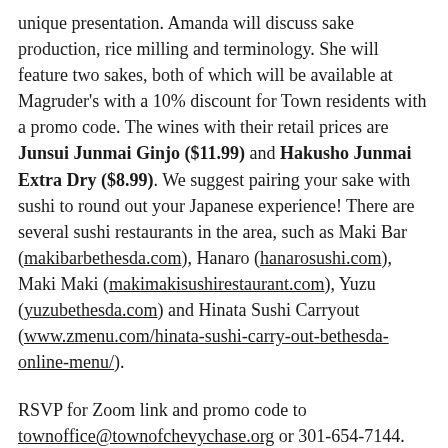unique presentation.  Amanda will discuss sake production, rice milling and terminology.  She will feature two sakes, both of which will be available at Magruder's with a 10% discount for Town residents with a promo code.  The wines with their retail prices are Junsui Junmai Ginjo ($11.99) and Hakusho Junmai Extra Dry ($8.99).  We suggest pairing your sake with sushi to round out your Japanese experience!  There are several sushi restaurants in the area, such as Maki Bar (makibarbethesda.com), Hanaro (hanarosushi.com), Maki Maki (makimakisushirestaurant.com), Yuzu (yuzubethesda.com) and Hinata Sushi Carryout (www.zmenu.com/hinata-sushi-carry-out-bethesda-online-menu/).
RSVP for Zoom link and promo code to townoffice@townofchevychase.org or 301-654-7144.